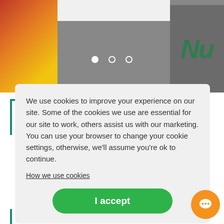[Figure (screenshot): Hero banner area with colorful background on left, white box in center, and dark panel with green styled text on right. Three navigation dots visible.]
70%
We use cookies to improve your experience on our site. Some of the cookies we use are essential for our site to work, others assist us with our marketing. You can use your browser to change your cookie settings, otherwise, we'll assume you're ok to continue.
How we use cookies
I accept